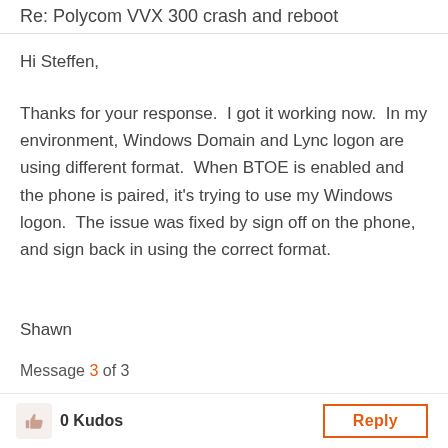Re: Polycom VVX 300 crash and reboot
Hi Steffen,
Thanks for your response.  I got it working now.  In my environment, Windows Domain and Lync logon are using different format.  When BTOE is enabled and the phone is paired, it's trying to use my Windows logon.  The issue was fixed by sign off on the phone, and sign back in using the correct format.
Shawn
Message 3 of 3
0 Kudos
Reply